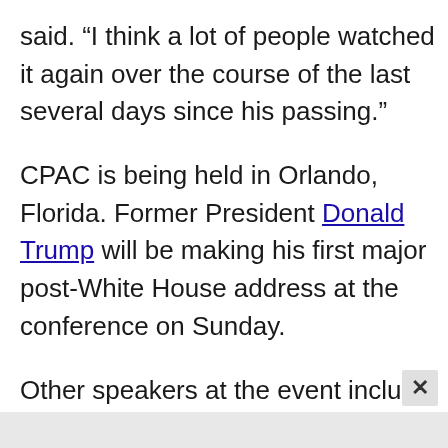said. “I think a lot of people watched it again over the course of the last several days since his passing.”
CPAC is being held in Orlando, Florida. Former President Donald Trump will be making his first major post-White House address at the conference on Sunday.
Other speakers at the event include former Secretary of State Mike Pompeo, Florida Gov. Ron DeSantis and South Dakota Gov. Kristi Noem.